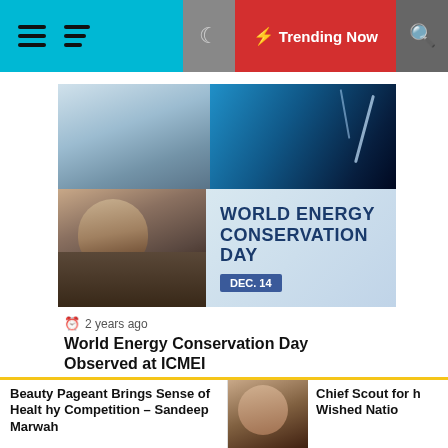Trending Now
[Figure (photo): Article image: hands holding earth / lightning bolt sky composite for World Energy Conservation Day, DEC. 14]
2 years ago
World Energy Conservation Day Observed at ICMEI
[Figure (photo): Group of people at an event, wearing traditional Indian attire, with cyan side bars]
Beauty Pageant Brings Sense of Healthy Competition – Sandeep Marwah
Chief Scout for h Wished Natio